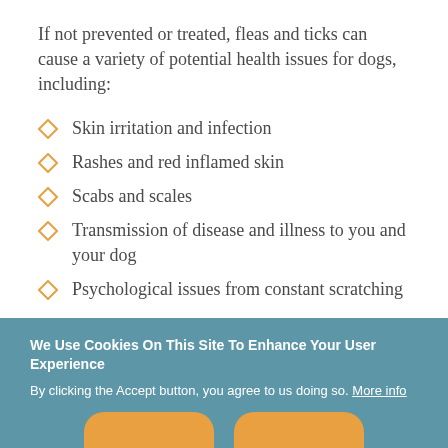If not prevented or treated, fleas and ticks can cause a variety of potential health issues for dogs, including:
Skin irritation and infection
Rashes and red inflamed skin
Scabs and scales
Transmission of disease and illness to you and your dog
Psychological issues from constant scratching
We Use Cookies On This Site To Enhance Your User Experience
By clicking the Accept button, you agree to us doing so. More info